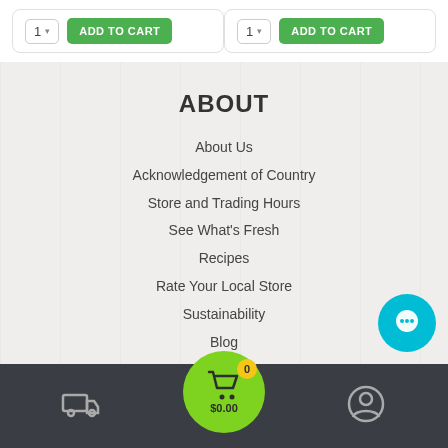[Figure (screenshot): Two product cards each with a quantity selector and green ADD TO CART button]
ABOUT
About Us
Acknowledgement of Country
Store and Trading Hours
See What's Fresh
Recipes
Rate Your Local Store
Sustainability
Blog
Careers
Contact Us
Delivery icon | Cart $0.00 (0 items) | User account icon